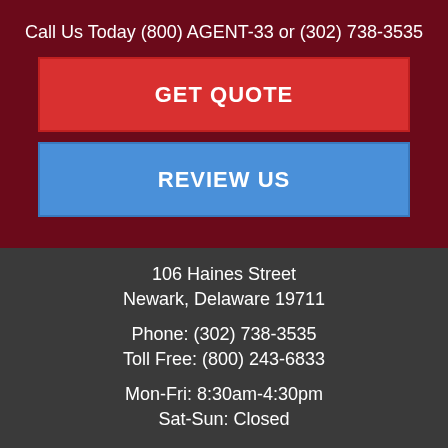Call Us Today (800) AGENT-33 or (302) 738-3535
GET QUOTE
REVIEW US
106 Haines Street
Newark, Delaware 19711
Phone: (302) 738-3535
Toll Free: (800) 243-6833
Mon-Fri: 8:30am-4:30pm
Sat-Sun: Closed